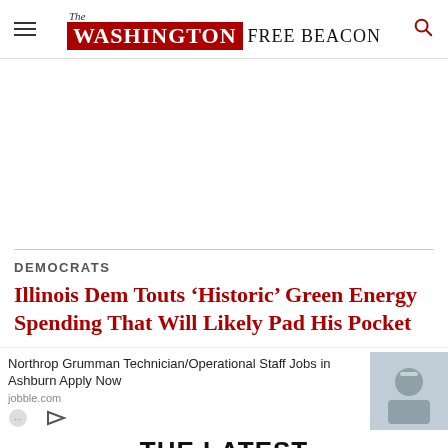The Washington Free Beacon
[Figure (other): Advertisement area (blank white space)]
DEMOCRATS
Illinois Dem Touts ‘Historic’ Green Energy Spending That Will Likely Pad His Pocket
Northrop Grumman Technician/Operational Staff Jobs in Ashburn Apply Now jobble.com
THE LATEST